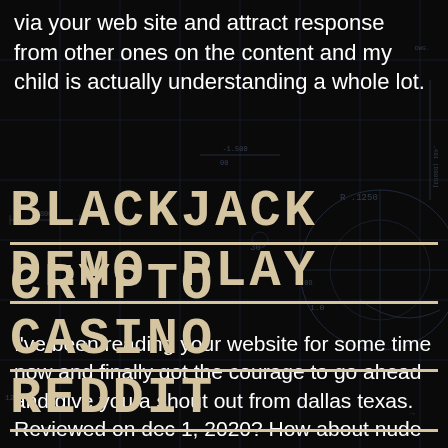via your web site and attract response from other ones on the content and my child is actually understanding a whole lot.
BLACKJACK DEMO PLAY
I've been reading your website for some time now and finally got the courage to go ahead and give you a shout out from dallas texas. Reviewed on dec 1, 2020? How about nude beach volleyball.
CRYPTO CASINO REDDIT